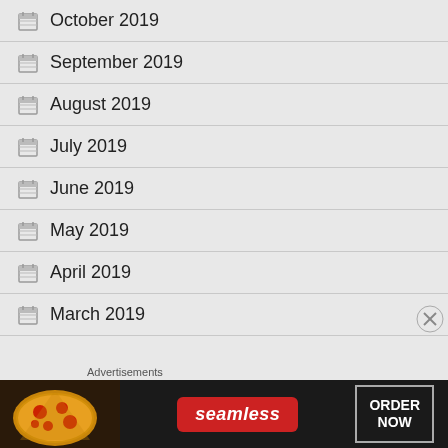October 2019
September 2019
August 2019
July 2019
June 2019
May 2019
April 2019
March 2019
Advertisements
[Figure (other): Seamless food delivery advertisement banner with pizza image on left, Seamless logo in center, and ORDER NOW button on right]